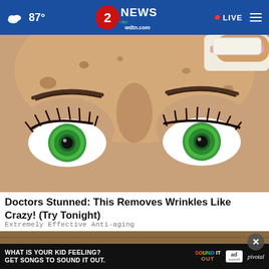87° | 2 NEWS wdtn.com | LIVE
[Figure (illustration): Cartoon/illustrated close-up of a woman's face with green eyes, long eyelashes, and freckles/spots. A cream or lotion product is being applied to the forehead area. The illustration style is detailed and colorful.]
Doctors Stunned: This Removes Wrinkles Like Crazy! (Try Tonight)
Extremely Effective Anti-aging
[Figure (screenshot): Partial view of a second article image showing a wooden surface background, with a close button (X) and an advertisement banner overlay. The ad reads: WHAT IS YOUR KID FEELING? GET SONGS TO SOUND IT OUT. with Sound It Out and ad council / pivotal logos.]